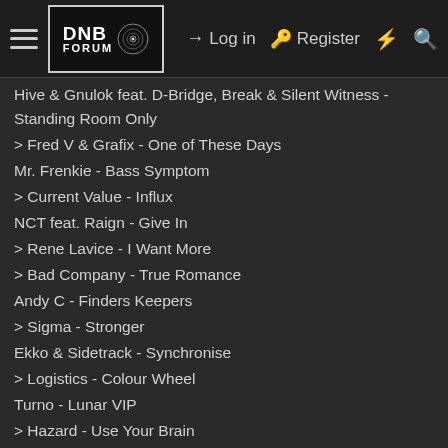DNB Forum — Log in | Register
Hive & Gnulok feat. D-Bridge, Break & Silent Witness - Standing Room Only
> Fred V & Grafix - One of These Days
Mr. Frenkie - Bass Symptom
> Current Value - Influx
NCT feat. Raign - Give In
> Rene Lavice - I Want More
> Bad Company - True Romance
Andy C - Finders Keepers
> Sigma - Stronger
Ekko & Sidetrack - Synchronise
> Logistics - Colour Wheel
Turno - Lunar VIP
> Hazard - Use Your Brain
> Current Value - AVGR
Sam Binga - Vandilero (Particle Remix)
> DJ Limited - The Elephant VIP
IMANU - Noir
> D12 - Fight Music
> Dub Phizix & Skeptical - Marka (feat. Strategy)